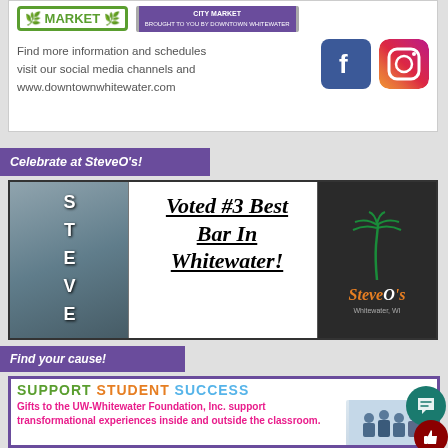[Figure (illustration): Top advertisement banner with Market logos, social media text, Facebook and Instagram icons]
Celebrate at SteveO's!
[Figure (illustration): SteveO's bar advertisement showing building sign photo, text 'Voted #3 Best Bar In Whitewater!' and SteveO's neon palm tree logo]
Find your cause!
[Figure (illustration): Support Student Success advertisement for UW-Whitewater Foundation Inc. with colorful text and student photo]